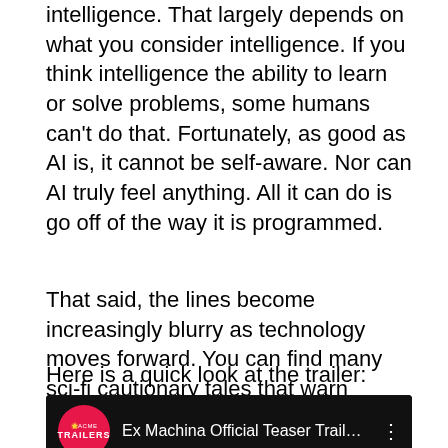intelligence. That largely depends on what you consider intelligence. If you think intelligence the ability to learn or solve problems, some humans can't do that. Fortunately, as good as AI is, it cannot be self-aware. Nor can AI truly feel anything. All it can do is go off of the way it is programmed.
That said, the lines become increasingly blurry as technology moves forward. You can find many sci-fi cautionary tales that warn against the day when that could happen. AI is not capable (at this point) of having independent thoughts, only the thoughts it is programmed with.
Here is a quick look at the trailer:
[Figure (screenshot): YouTube video embed showing 'Ex Machina Official Teaser Trailer ...' with a red circular Trailers badge logo on the left, video title in white text on black background, and a three-dot menu icon on the right.]